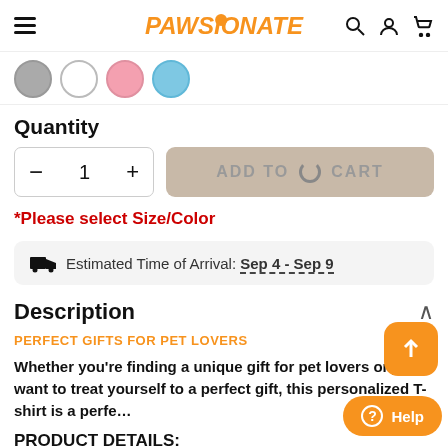PAWSIONATE
[Figure (other): Color swatch circles: gray, white, pink, light blue]
Quantity
- 1 +  ADD TO CART
*Please select Size/Color
Estimated Time of Arrival: Sep 4 - Sep 9
Description
PERFECT GIFTS FOR PET LOVERS
Whether you’re finding a unique gift for pet lovers or just want to treat yourself to a perfect gift, this personalized T-shirt is a perfe…
PRODUCT DETAILS: